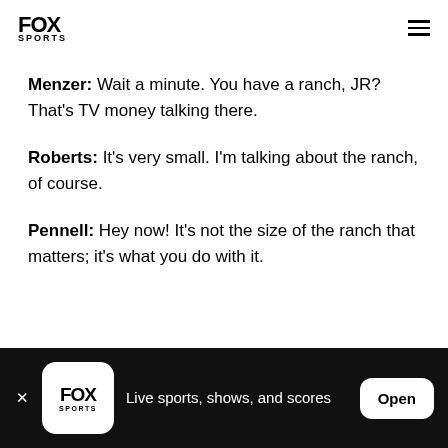FOX SPORTS
Menzer: Wait a minute. You have a ranch, JR? That's TV money talking there.
Roberts: It's very small. I'm talking about the ranch, of course.
Pennell: Hey now! It's not the size of the ranch that matters; it's what you do with it.
FOX SPORTS — Live sports, shows, and scores — Open